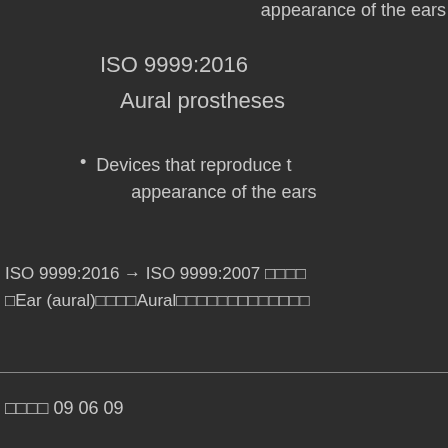appearance of the ears
ISO 9999:2016
Aural prostheses
Devices that reproduce the appearance of the ears
ISO 9999:2016 → ISO 9999:2007 □□□□ □Ear (aural)□□□□Aural□□□□□□□□□□□□□
□□□□ 09 06 09